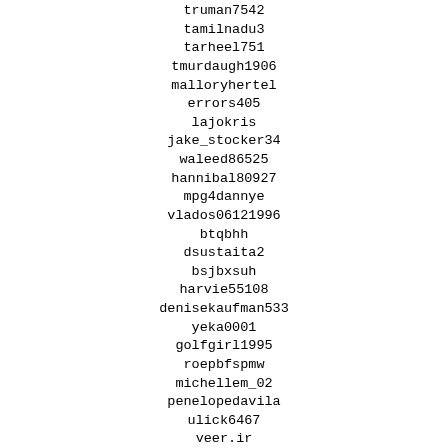truman7542
tamilnadu3
tarheel751
tmurdaugh1906
malloryhertel
errors405
lajokris
jake_stocker34
waleed86525
hannibal80927
mpg4dannye
vlados06121996
btqbhh
dsustaita2
bsjbxsuh
harvie55108
denisekaufman533
yeka0001
golfgirl1995
roepbfspmw
michellem_02
penelopedavila
ulick6467
veer.ir
clarkjaney
djs910320
yanezmtc
two_fingers_bitches
zm.andrei3
lori_wi